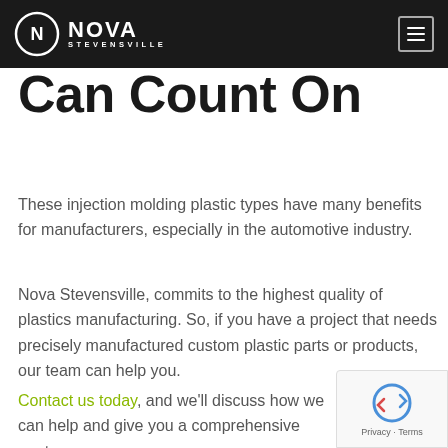Nova Stevensville
Can Count On
These injection molding plastic types have many benefits for manufacturers, especially in the automotive industry.
Nova Stevensville, commits to the highest quality of plastics manufacturing. So, if you have a project that needs precisely manufactured custom plastic parts or products, our team can help you.
Contact us today, and we'll discuss how we can help and give you a comprehensive quote.
[Figure (logo): reCAPTCHA privacy badge with spinning arrows icon, Privacy and Terms text]